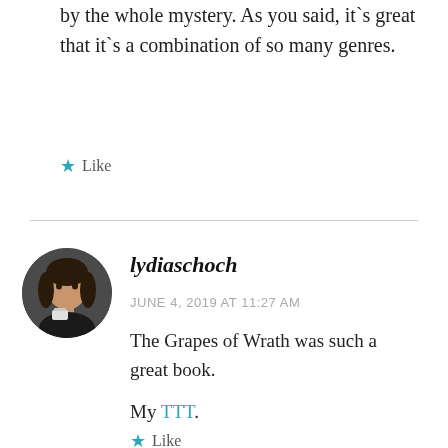by the whole mystery. As you said, it`s great that it`s a combination of so many genres.
★ Like
[Figure (photo): Circular avatar photo of a woman with curly dark hair, holding a cup]
lydiaschoch
JUNE 4, 2019 AT 11:27 AM
The Grapes of Wrath was such a great book.
My TTT.
★ Like